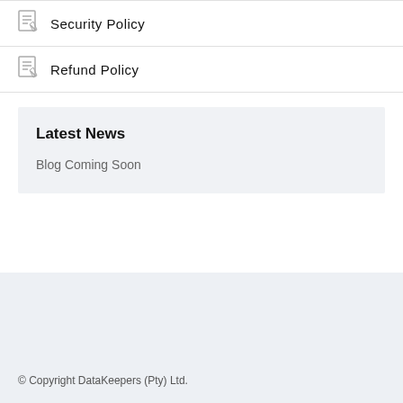Security Policy
Refund Policy
Latest News
Blog Coming Soon
© Copyright DataKeepers (Pty) Ltd.